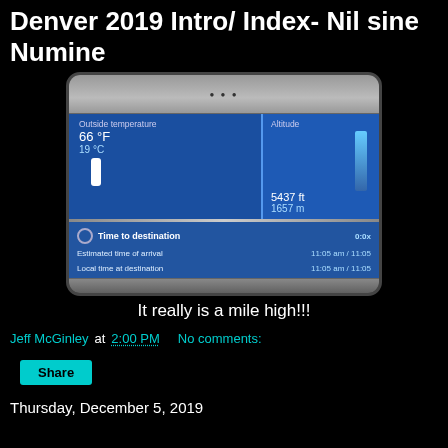Denver 2019 Intro/ Index- Nil sine Numine
[Figure (photo): Car navigation screen showing outside temperature 66°F / 19°C and altitude 5437 ft / 1657 m, with time to destination and estimated arrival 11:05 am.]
It really is a mile high!!!
Jeff McGinley at 2:00 PM   No comments:
Share
Thursday, December 5, 2019